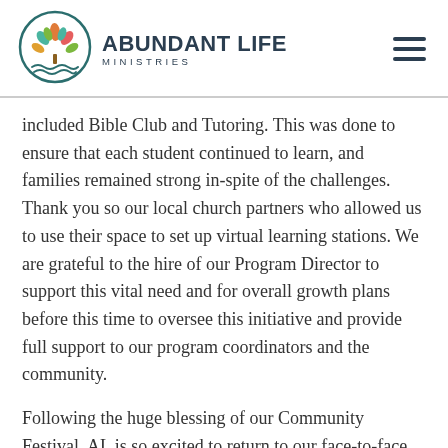ABUNDANT LIFE MINISTRIES
[Figure (logo): Abundant Life Ministries logo: circular emblem with colorful leaf/tree design and wavy lines at bottom, next to bold text 'ABUNDANT LIFE' with 'MINISTRIES' subtitle]
included Bible Club and Tutoring. This was done to ensure that each student continued to learn, and families remained strong in-spite of the challenges. Thank you so our local church partners who allowed us to use their space to set up virtual learning stations. We are grateful to the hire of our Program Director to support this vital need and for overall growth plans before this time to oversee this initiative and provide full support to our program coordinators and the community.
Following the huge blessing of our Community Festival, AL is so excited to return to our face-to-face relational building. We look forward to leading the ministry into the future by